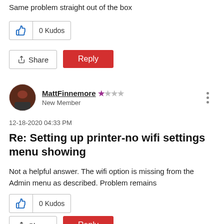Same problem straight out of the box
[Figure (other): Kudos button showing thumbs up icon and 0 Kudos]
[Figure (other): Share button and red Reply button]
[Figure (other): User avatar for MattFinnemore]
MattFinnemore New Member
12-18-2020 04:33 PM
Re: Setting up printer-no wifi settings menu showing
Not a helpful answer. The wifi option is missing from the Admin menu as described. Problem remains
[Figure (other): Kudos button showing thumbs up icon and 0 Kudos]
[Figure (other): Share button and red Reply button (partially visible)]